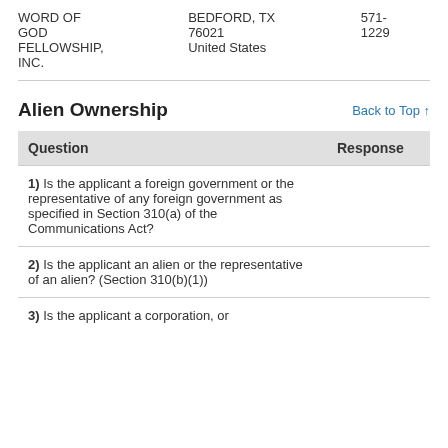| WORD OF GOD FELLOWSHIP, INC. | BEDFORD, TX 76021 United States | 571-1229 |
Alien Ownership
| Question | Response |
| --- | --- |
| 1) Is the applicant a foreign government or the representative of any foreign government as specified in Section 310(a) of the Communications Act? |  |
| 2) Is the applicant an alien or the representative of an alien? (Section 310(b)(1)) |  |
| 3) Is the applicant a corporation, or |  |